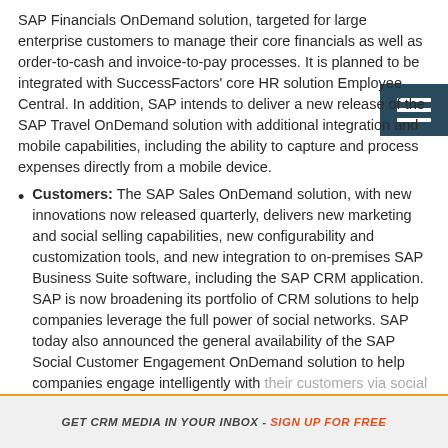SAP Financials OnDemand solution, targeted for large enterprise customers to manage their core financials as well as order-to-cash and invoice-to-pay processes. It is planned to be integrated with SuccessFactors' core HR solution Employee Central. In addition, SAP intends to deliver a new release of the SAP Travel OnDemand solution with additional integration and mobile capabilities, including the ability to capture and process expenses directly from a mobile device.
Customers: The SAP Sales OnDemand solution, with new innovations now released quarterly, delivers new marketing and social selling capabilities, new configurability and customization tools, and new integration to on-premises SAP Business Suite software, including the SAP CRM application. SAP is now broadening its portfolio of CRM solutions to help companies leverage the full power of social networks. SAP today also announced the general availability of the SAP Social Customer Engagement OnDemand solution to help companies engage intelligently with their customers via social media such as Facebook
[Figure (other): Hamburger menu icon — three white horizontal lines on a dark teal/navy rectangle background]
GET CRM MEDIA IN YOUR INBOX - SIGN UP FOR FREE